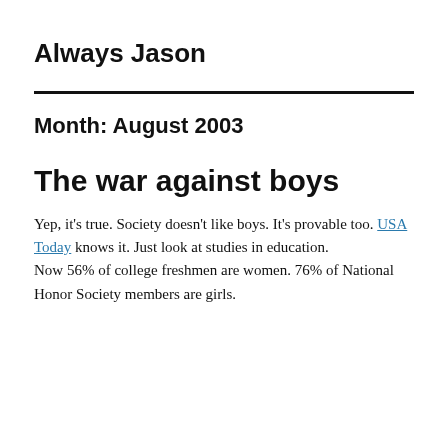Always Jason
Month: August 2003
The war against boys
Yep, it's true. Society doesn't like boys. It's provable too. USA Today knows it. Just look at studies in education.
Now 56% of college freshmen are women. 76% of National Honor Society members are girls.